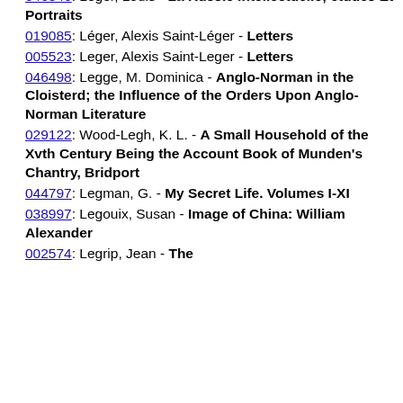016843: Legany, Dezso - Ferenc Liszt and His Country, 1869-1873
046846: Leger, Louis - La Russie Intellectuelle; études Et Portraits
019085: Léger, Alexis Saint-Léger - Letters
005523: Leger, Alexis Saint-Leger - Letters
046498: Legge, M. Dominica - Anglo-Norman in the Cloisterd; the Influence of the Orders Upon Anglo-Norman Literature
029122: Wood-Legh, K. L. - A Small Household of the Xvth Century Being the Account Book of Munden's Chantry, Bridport
044797: Legman, G. - My Secret Life. Volumes I-XI
038997: Legouix, Susan - Image of China: William Alexander
002574: Legrip, Jean - The